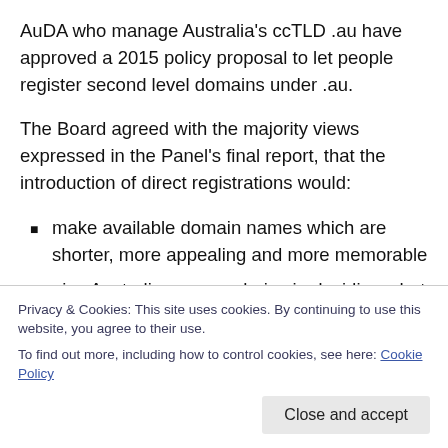AuDA who manage Australia's ccTLD .au have approved a 2015 policy proposal to let people register second level domains under .au.
The Board agreed with the majority views expressed in the Panel's final report, that the introduction of direct registrations would:
make available domain names which are shorter, more appealing and more memorable
give Australians more choice in deciding what domain name to register
Privacy & Cookies: This site uses cookies. By continuing to use this website, you agree to their use.
To find out more, including how to control cookies, see here: Cookie Policy
market